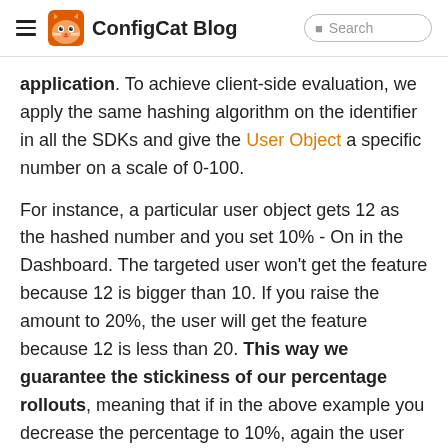ConfigCat Blog  Search
application. To achieve client-side evaluation, we apply the same hashing algorithm on the identifier in all the SDKs and give the User Object a specific number on a scale of 0-100.
For instance, a particular user object gets 12 as the hashed number and you set 10% - On in the Dashboard. The targeted user won't get the feature because 12 is bigger than 10. If you raise the amount to 20%, the user will get the feature because 12 is less than 20. This way we guarantee the stickiness of our percentage rollouts, meaning that if in the above example you decrease the percentage to 10%, again the user will not get the feature. Since all of our SDKs